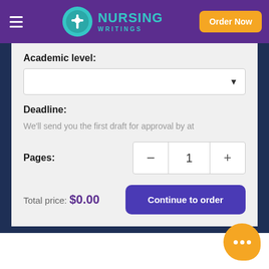[Figure (logo): Nursing Writings logo with teal circle icon and teal text on purple header background]
Academic level:
Deadline:
We'll send you the first draft for approval by at
Pages:
Total price: $0.00
Continue to order